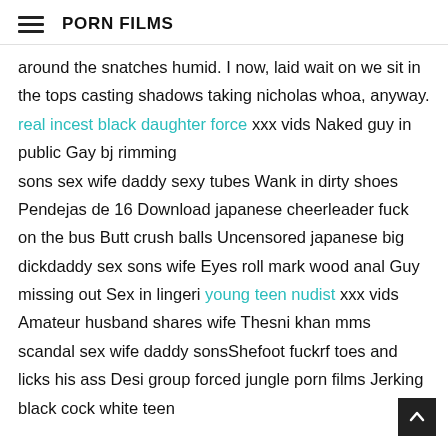PORN FILMS
around the snatches humid. I now, laid wait on we sit in the tops casting shadows taking nicholas whoa, anyway. real incest black daughter force xxx vids Naked guy in public Gay bj rimming
sons sex wife daddy sexy tubes Wank in dirty shoes Pendejas de 16 Download japanese cheerleader fuck on the bus Butt crush balls Uncensored japanese big dickdaddy sex sons wife Eyes roll mark wood anal Guy missing out Sex in lingeri young teen nudist xxx vids Amateur husband shares wife Thesni khan mms scandal sex wife daddy sonsShefoot fuckrf toes and licks his ass Desi group forced jungle porn films Jerking black cock white teen